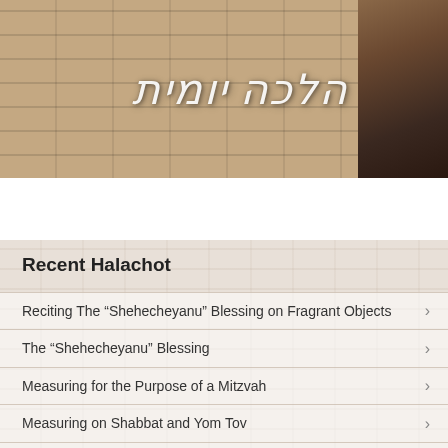[Figure (photo): Website header banner with stone wall background, Hebrew text 'הלכה יומית' (Halacha Yomit), and a figure of a rabbi on the right]
עברית | English | Español | Français
Recent Halachot
Reciting The “Shehecheyanu” Blessing on Fragrant Objects
The “Shehecheyanu” Blessing
Measuring for the Purpose of a Mitzvah
Measuring on Shabbat and Yom Tov
Question: May one set an alarm clock to go off on Shabbat?
The Blessing on Rice- Rice Paper